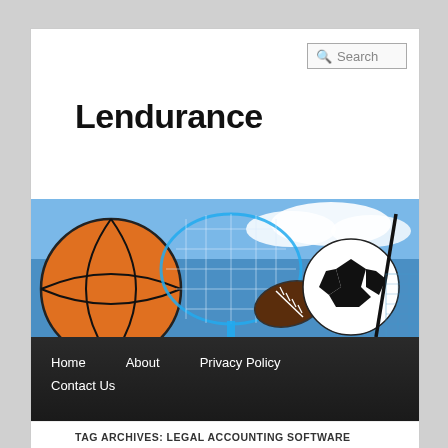Search
Lendurance
[Figure (photo): Sports equipment collage: basketball, tennis racket, football, soccer ball, golf club against blue sky background]
Home  About  Privacy Policy  Contact Us
TAG ARCHIVES: LEGAL ACCOUNTING SOFTWARE